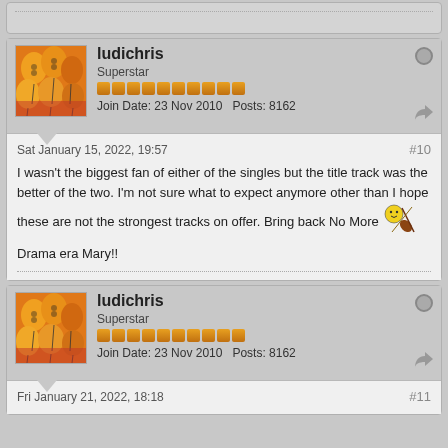[stub top of previous post]
ludichris
Superstar
Join Date: 23 Nov 2010  Posts: 8162
Sat January 15, 2022, 19:57  #10
I wasn't the biggest fan of either of the singles but the title track was the better of the two. I'm not sure what to expect anymore other than I hope these are not the strongest tracks on offer. Bring back No More
Drama era Mary!!
ludichris
Superstar
Join Date: 23 Nov 2010  Posts: 8162
Fri January 21, 2022, 18:18  #11